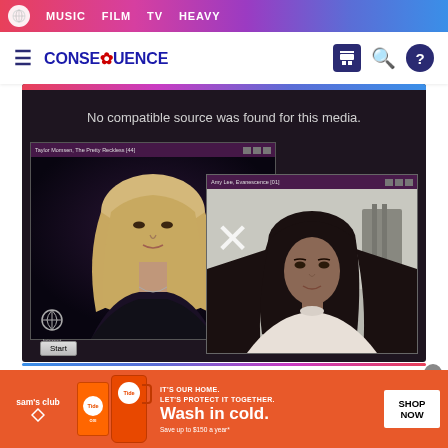MUSIC  FILM  TV  HEAVY
[Figure (logo): Consequence of Sound website logo and navigation header with hamburger menu, CONSEQUENCE wordmark, and icons for tickets, search, and help]
[Figure (screenshot): Embedded video player showing 'No compatible source was found for this media.' message with two picture-in-picture sub-windows showing two women on a video call, an Internet globe icon, and a Start button at bottom left]
[Figure (photo): Advertisement banner for Sam's Club Tide detergent: 'IT'S OUR HOME. LET'S PROTECT IT TOGETHER. Wash in cold. Save up to $150 a year*' with SHOP NOW button]